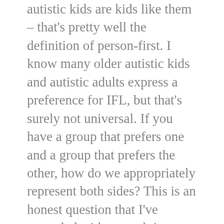autistic kids are kids like them – that's pretty well the definition of person-first. I know many older autistic kids and autistic adults express a preference for IFL, but that's surely not universal. If you have a group that prefers one and a group that prefers the other, how do we appropriately represent both sides? This is an honest question that I've struggled with several times since my daughter was diagnosed last year. (She's not old enough to express a preference; when she does, I will honour her choice.) What's your take on how to choose what language to use when you have a large community that doesn't have a consensus about what